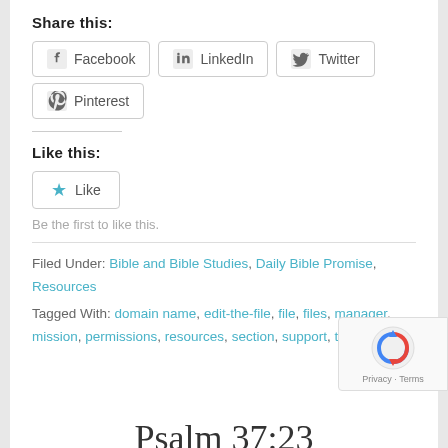Share this:
Facebook  LinkedIn  Twitter  Pinterest
Like this:
Like
Be the first to like this.
Filed Under: Bible and Bible Studies, Daily Bible Promise, Resources
Tagged With: domain name, edit-the-file, file, files, manager, mission, permissions, resources, section, support, tickets
Psalm 37:23